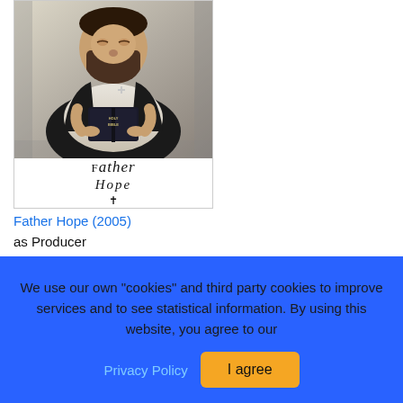[Figure (photo): Movie poster for Father Hope (2005) showing a heavyset man reading a Holy Bible, wearing a dark vest with a cross pin, with illustrated/painted style artwork and the text 'Father Hope' with a cross below]
Father Hope (2005)
as Producer
We use our own "cookies" and third party cookies to improve services and to see statistical information. By using this website, you agree to our
Privacy Policy
I agree